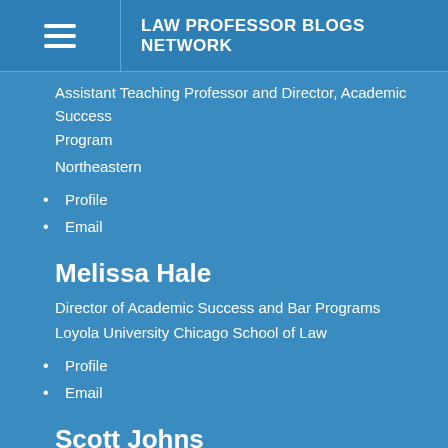LAW PROFESSOR BLOGS NETWORK
Assistant Teaching Professor and Director, Academic Success Program
Northeastern
Profile
Email
Melissa Hale
Director of Academic Success and Bar Programs
Loyola University Chicago School of Law
Profile
Email
Scott Johns
Professor of the Practice of Law
University of Denver
Profile
Email